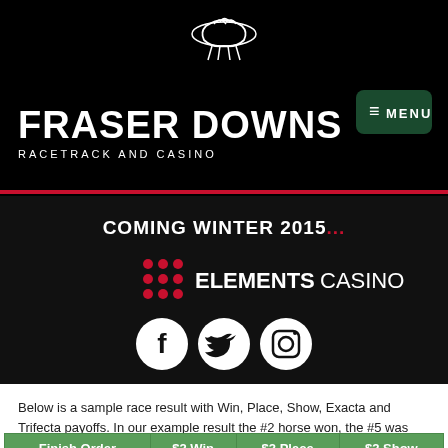[Figure (logo): Fraser Downs Racetrack and Casino logo with horse graphic and MENU button on black background]
[Figure (logo): Coming Winter 2015... Elements Casino logo with red dot grid and social media icons (Facebook, Twitter, Instagram) on dark background]
Below is a sample race result with Win, Place, Show, Exacta and Trifecta payoffs. In our example result the #2 horse won, the #5 was second, and the #8 was third.
| Finish Order | $2 Win | $2 Place | $2 Show |
| --- | --- | --- | --- |
| 1st - 2 | $10.00 | $7.40 | $5.20 |